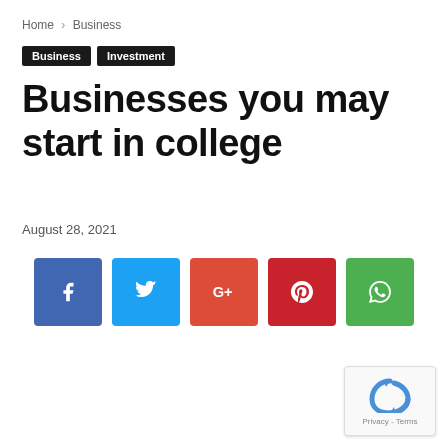Home › Business
Business   Investment
Businesses you may start in college
August 28, 2021
[Figure (infographic): Social share buttons: Facebook (blue), Twitter (light blue), Google+ (red-orange), Pinterest (dark red), WhatsApp (green)]
[Figure (other): reCAPTCHA badge with Privacy and Terms links]